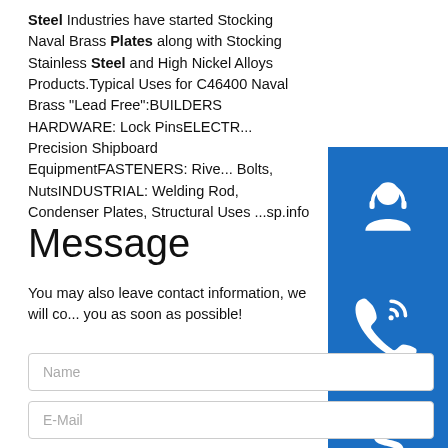Steel Industries have started Stocking Naval Brass Plates along with Stocking Stainless Steel and High Nickel Alloys Products.Typical Uses for C46400 Naval Brass "Lead Free":BUILDERS HARDWARE: Lock PinsELECTR... Precision Shipboard EquipmentFASTENERS: Rive... Bolts, NutsINDUSTRIAL: Welding Rod, Condenser Plates, Structural Uses ...sp.info
[Figure (infographic): Three blue square icon buttons stacked vertically on the right side: a customer support/headset icon, a phone/call icon, and a Skype icon.]
Message
You may also leave contact information, we will contact you as soon as possible!
Name
E-Mail
Messages